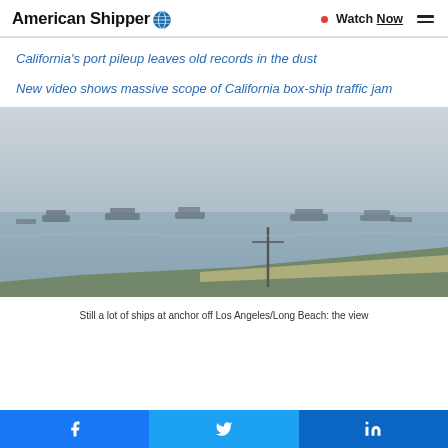American Shipper | Watch Now
California's port pileup leaves old records in the dust
New video shows massive scope of California box-ship traffic jam
[Figure (photo): Aerial/elevated view of ships at anchor off Los Angeles/Long Beach port area, showing many container ships on hazy grey water with shoreline visible]
Still a lot of ships at anchor off Los Angeles/Long Beach: the view
Facebook | Twitter | LinkedIn